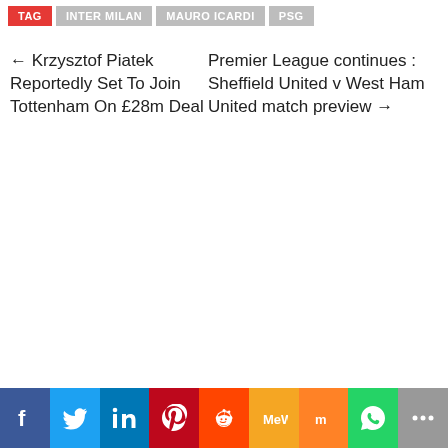TAG | INTER MILAN | MAURO ICARDI | PSG
← Krzysztof Piatek Reportedly Set To Join Tottenham On £28m Deal
Premier League continues : Sheffield United v West Ham United match preview →
Social share bar: Facebook, Twitter, LinkedIn, Pinterest, Reddit, MeWe, Mix, WhatsApp, More